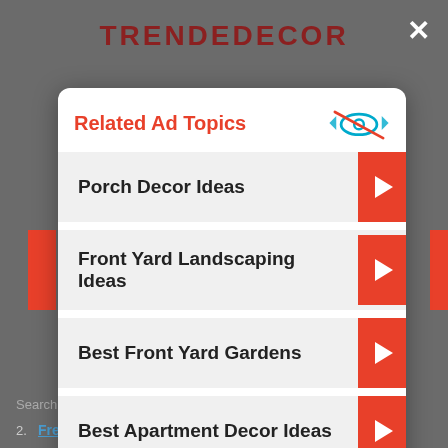TRENDEDECOR
Related Ad Topics
Porch Decor Ideas
Front Yard Landscaping Ideas
Best Front Yard Gardens
Best Apartment Decor Ideas
Continue to Site >>
Search for
2. Free Landscaping Ideas